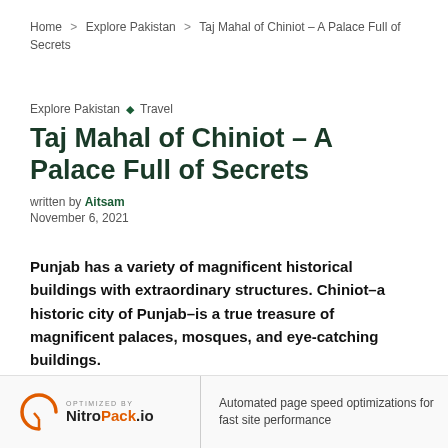Home > Explore Pakistan > Taj Mahal of Chiniot – A Palace Full of Secrets
Explore Pakistan ◇ Travel
Taj Mahal of Chiniot – A Palace Full of Secrets
written by Aitsam
November 6, 2021
Punjab has a variety of magnificent historical buildings with extraordinary structures. Chiniot–a historic city of Punjab–is a true treasure of magnificent palaces, mosques, and eye-catching buildings.
OPTIMIZED BY NitroPack.io | Automated page speed optimizations for fast site performance